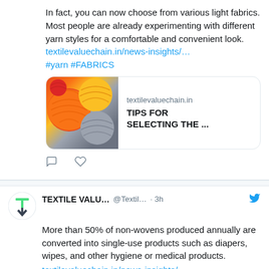In fact, you can now choose from various light fabrics. Most people are already experimenting with different yarn styles for a comfortable and convenient look. textilevaluechain.in/news-insights/… #yarn #FABRICS
[Figure (screenshot): Link preview card showing colorful yarn balls image on left, with domain 'textilevaluechain.in' and title 'TIPS FOR SELECTING THE ...' on right]
[Figure (infographic): Tweet action icons: comment bubble and heart/like icon]
TEXTILE VALU… @Textil… · 3h
More than 50% of non-wovens produced annually are converted into single-use products such as diapers, wipes, and other hygiene or medical products.
textilevaluechain.in/news-insights/…